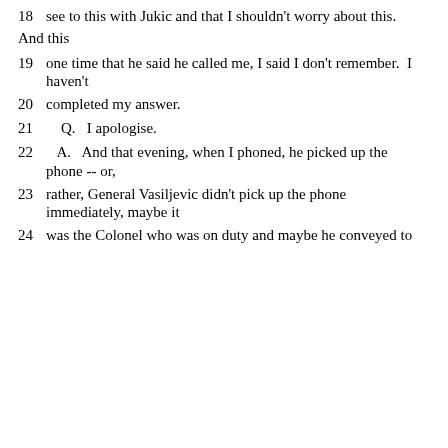18   see to this with Jukic and that I shouldn't worry about this.
And this
19   one time that he said he called me, I said I don't remember.  I haven't
20   completed my answer.
21      Q.   I apologise.
22      A.   And that evening, when I phoned, he picked up the phone -- or,
23   rather, General Vasiljevic didn't pick up the phone immediately, maybe it
24   was the Colonel who was on duty and maybe he conveyed to